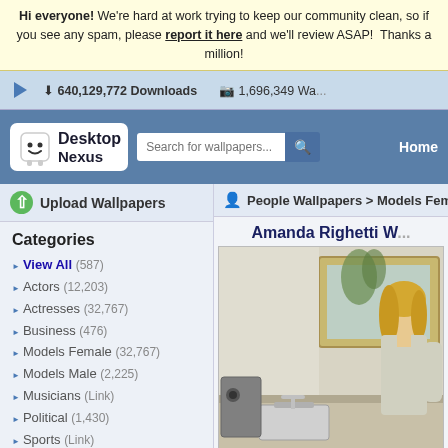Hi everyone! We're hard at work trying to keep our community clean, so if you see any spam, please report it here and we'll review ASAP! Thanks a million!
640,129,772 Downloads   1,696,349 Wa...
[Figure (screenshot): Desktop Nexus logo with smiley face mascot, search bar, and Home navigation link]
Upload Wallpapers
People Wallpapers > Models Female >
Categories
View All (587)
Actors (12,203)
Actresses (32,767)
Business (476)
Models Female (32,767)
Models Male (2,225)
Musicians (Link)
Political (1,430)
Sports (Link)
Other (32,763)
Downloads: 640,129,772
People Walls: 247,386
All Wallpapers: 1,696,349
Tag Count: 9,948,936
Amanda Righetti W...
[Figure (photo): Amanda Righetti wallpaper photo showing a woman in a kitchen near a sink]